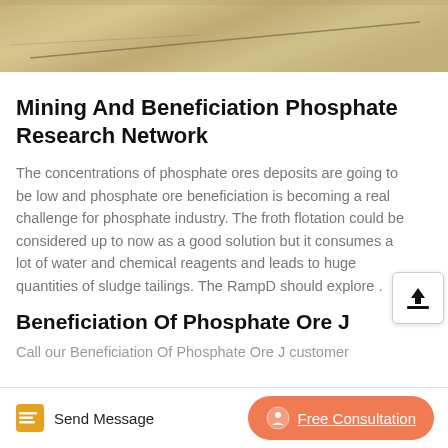[Figure (photo): Photograph of rocks or mineral samples with a thin rod/stick overlaid, beige/tan tones]
Mining And Beneficiation Phosphate Research Network
The concentrations of phosphate ores deposits are going to be low and phosphate ore beneficiation is becoming a real challenge for phosphate industry. The froth flotation could be considered up to now as a good solution but it consumes a lot of water and chemical reagents and leads to huge quantities of sludge tailings. The RampD should explore .
Beneficiation Of Phosphate Ore J
Call our Beneficiation Of Phosphate Ore J customer
Send Message   Free Consultation